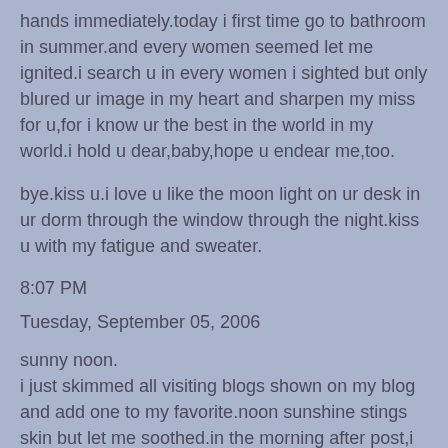hands immediately.today i first time go to bathroom in summer.and every women seemed let me ignited.i search u in every women i sighted but only blured ur image in my heart and sharpen my miss for u,for i know ur the best in the world in my world.i hold u dear,baby,hope u endear me,too.
bye.kiss u.i love u like the moon light on ur desk in ur dorm through the window through the night.kiss u with my fatigue and sweater.
8:07 PM
Tuesday, September 05, 2006
sunny noon.
i just skimmed all visiting blogs shown on my blog and add one to my favorite.noon sunshine stings skin but let me soothed.in the morning after post,i laid my own on bed and felt cold.running mind wanders in force field of bugs and my gravity.3 hours passed without music in silence.god knows what i can't betray and whom i can't not to pray for.my blog led its first comment and how i wish its urs.how i hope its u